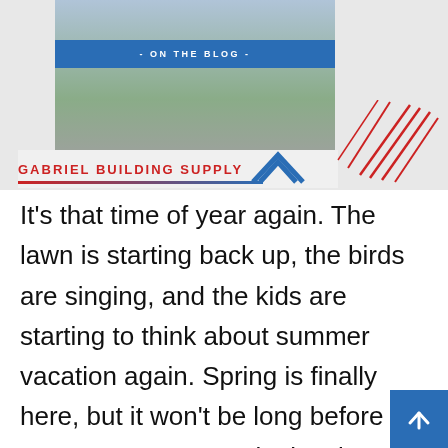[Figure (screenshot): Blog card image showing two people on a lawn with a blue 'ON THE BLOG' banner overlaid, and the Gabriel Building Supply logo below with red decorative lines]
It's that time of year again. The lawn is starting back up, the birds are singing, and the kids are starting to think about summer vacation again. Spring is finally here, but it won't be long before summer comes to take its place!